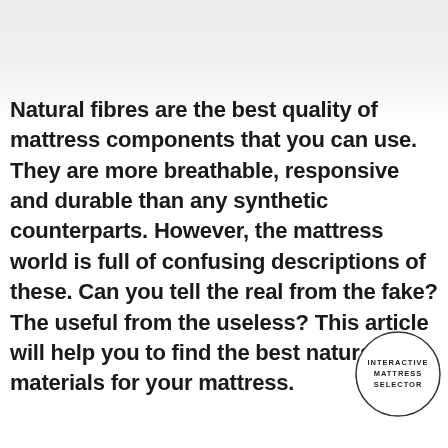Natural fibres are the best quality of mattress components that you can use. They are more breathable, responsive and durable than any synthetic counterparts. However, the mattress world is full of confusing descriptions of these. Can you tell the real from the fake? The useful from the useless? This article will help you to find the best natural materials for your mattress.
[Figure (logo): Circular logo with text: INTERACTIVE MATTRESS SELECTOR]